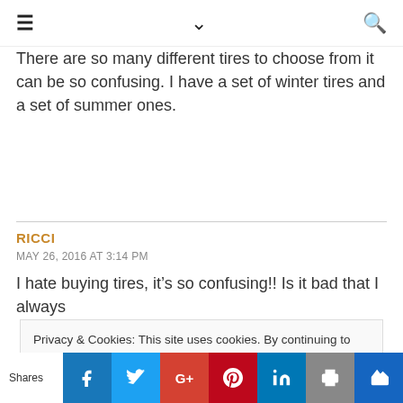≡  ∨  🔍
There are so many different tires to choose from it can be so confusing. I have a set of winter tires and a set of summer ones.
RICCI
MAY 26, 2016 AT 3:14 PM
I hate buying tires, it's so confusing!! Is it bad that I always
Privacy & Cookies: This site uses cookies. By continuing to use this website, you agree to their use.
To find out more, including how to control cookies, see here: Cookie Policy
Shares | Facebook | Twitter | Google+ | Pinterest | LinkedIn | Print | Crown